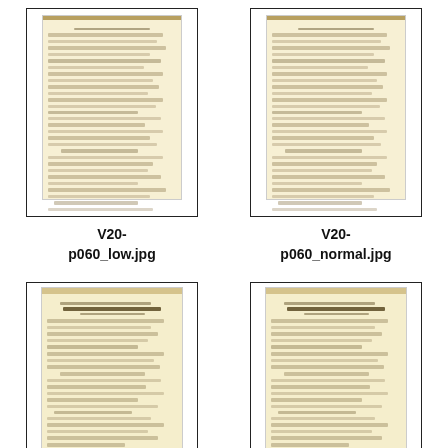[Figure (photo): Thumbnail image of handwritten document page, V20-p060_low.jpg]
V20-
p060_low.jpg
[Figure (photo): Thumbnail image of handwritten document page, V20-p060_normal.jpg]
V20-
p060_normal.jpg
[Figure (photo): Thumbnail image of handwritten document page, V20-p061_low.jpg]
V20-
p061_low.jpg
[Figure (photo): Thumbnail image of handwritten document page, V20-p061_normal.jpg]
V20-
p061_normal.jpg
[Figure (photo): Partial thumbnail image of handwritten document page (row 3 left, cropped)]
[Figure (photo): Partial thumbnail image of handwritten document page (row 3 right, cropped)]